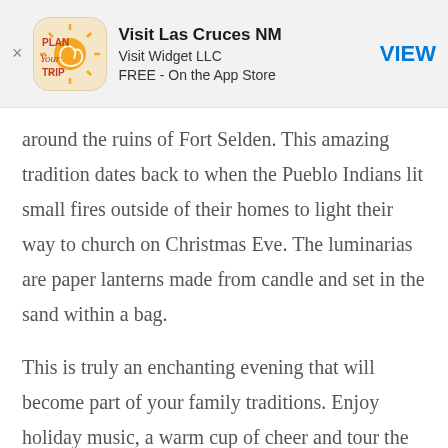[Figure (screenshot): App Store banner ad for 'Visit Las Cruces NM' by Visit Widget LLC. Shows app icon with 'Plan Your Trip' text and sun graphic, app name, developer, price (FREE - On the App Store), and a blue VIEW button.]
around the ruins of Fort Selden. This amazing tradition dates back to when the Pueblo Indians lit small fires outside of their homes to light their way to church on Christmas Eve. The luminarias are paper lanterns made from candle and set in the sand within a bag.
This is truly an enchanting evening that will become part of your family traditions. Enjoy holiday music, a warm cup of cheer and tour the grounds. Make